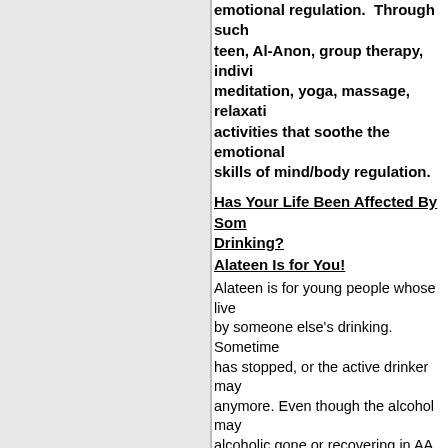emotional regulation. Through such as alateen, Al-Anon, group therapy, individual meditation, yoga, massage, relaxation, activities that soothe the emotional skills of mind/body regulation.
Has Your Life Been Affected By Someone's Drinking?
Alateen Is for You!
Alateen is for young people whose lives have been affected by someone else's drinking. Sometimes the drinking has stopped, or the active drinker may not be around anymore. Even though the alcohol may be gone, or the alcoholic gone or recovering in AA, we may still suffer. Many of us have received help from Alateen. The following 20 questions are to help you decide whether or not Alateen is for you.
1.Do you believe no one could possibly understand how you feel?  _____
2.Do you cover up your real feelings by pretending you don't care?  _____
3.Do you feel neglected, uncared for,
4. Do you tell lies to cover up for someone's drinking or what's happening in your home?
5. Do you stay out of the house as much as possible because you hate it there?  _____
6.Are you afraid or embarrassed to bring friends home?  _____
7. Has someone's drinking upset you?
8.Are mealtimes, birthdays, and holidays